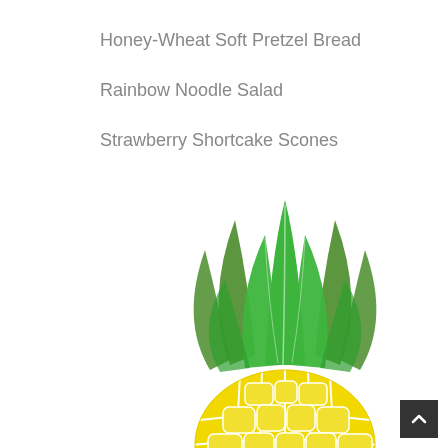Honey-Wheat Soft Pretzel Bread
Rainbow Noodle Salad
Strawberry Shortcake Scones
[Figure (illustration): Stylized pineapple illustration with yellow segmented body and green leafy crown, partially cropped at bottom of page]